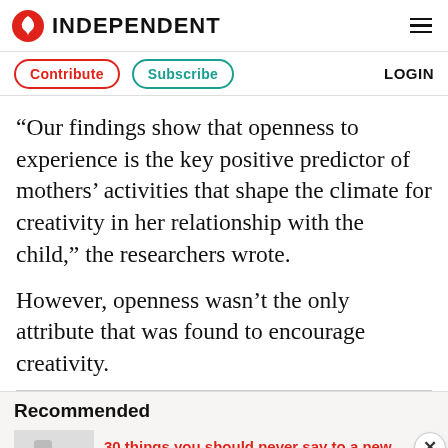INDEPENDENT
Contribute  Subscribe  LOGIN
“Our findings show that openness to experience is the key positive predictor of mothers’ activities that shape the climate for creativity in her relationship with the child,” the researchers wrote.
However, openness wasn’t the only attribute that was found to encourage creativity.
Recommended
30 things you should never say to a new mother